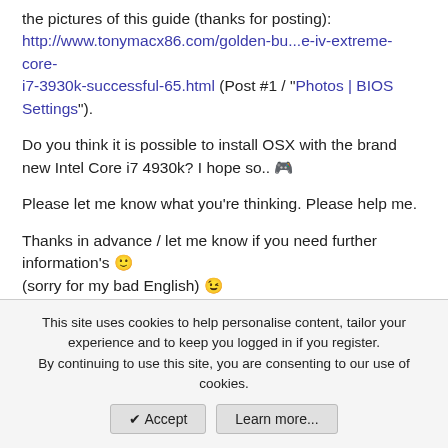the pictures of this guide (thanks for posting): http://www.tonymacx86.com/golden-bu...e-iv-extreme-core-i7-3930k-successful-65.html (Post #1 / "Photos | BIOS Settings").

Do you think it is possible to install OSX with the brand new Intel Core i7 4930k? I hope so.. 🎮

Please let me know what you're thinking. Please help me.

Thanks in advance / let me know if you need further information's 🙂
(sorry for my bad English) 😉

Kind regards from Germany (near Frankfurt)
Marco
This site uses cookies to help personalise content, tailor your experience and to keep you logged in if you register.
By continuing to use this site, you are consenting to our use of cookies.